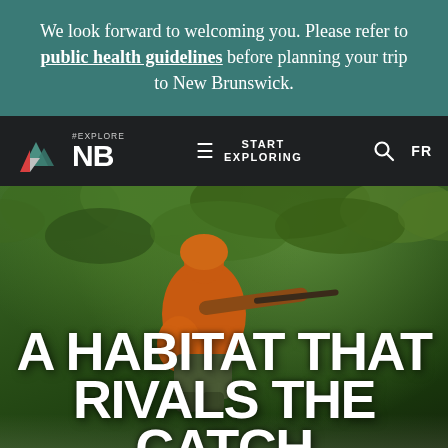We look forward to welcoming you. Please refer to public health guidelines before planning your trip to New Brunswick.
[Figure (screenshot): Navigation bar with #ExploreNB logo on dark background, hamburger menu, START EXPLORING text, search icon, and FR language toggle]
[Figure (photo): Hunter in orange jacket aiming a rifle toward dense green forest. Large white text overlay reads 'A HABITAT THAT RIVALS THE CATCH']
A HABITAT THAT RIVALS THE CATCH